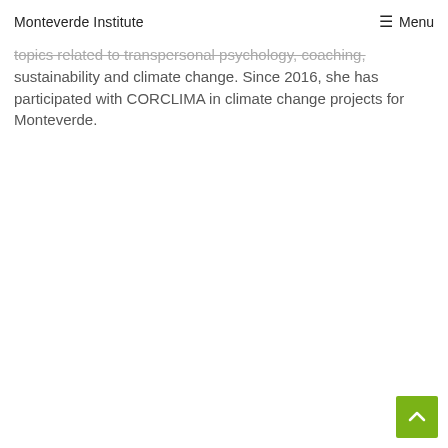Monteverde Institute  ☰ Menu
topics related to transpersonal psychology, coaching, sustainability and climate change. Since 2016, she has participated with CORCLIMA in climate change projects for Monteverde.